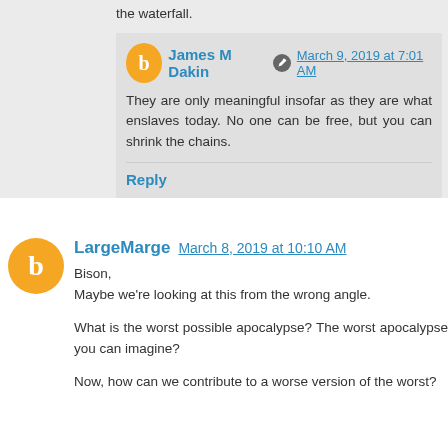the waterfall.
James M Dakin  March 9, 2019 at 7:01 AM
They are only meaningful insofar as they are what enslaves today. No one can be free, but you can shrink the chains.
Reply
LargeMarge  March 8, 2019 at 10:10 AM
Bison,
Maybe we're looking at this from the wrong angle.

What is the worst possible apocalypse? The worst apocalypse you can imagine?

Now, how can we contribute to a worse version of the worst?